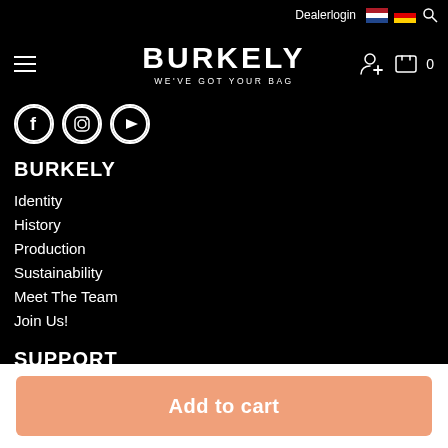Dealerlogin
BURKELY
WE'VE GOT YOUR BAG
[Figure (logo): Social media icons: Facebook, Instagram, YouTube — circular white-bordered icons on black background]
BURKELY
Identity
History
Production
Sustainability
Meet The Team
Join Us!
SUPPORT
Contact
Add to cart